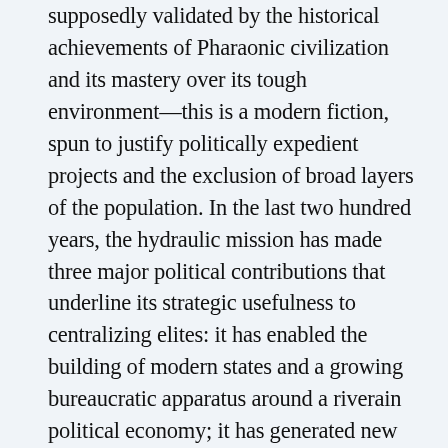supposedly validated by the historical achievements of Pharaonic civilization and its mastery over its tough environment—this is a modern fiction, spun to justify politically expedient projects and the exclusion of broad layers of the population. In the last two hundred years, the hydraulic mission has made three major political contributions that underline its strategic usefulness to centralizing elites: it has enabled the building of modern states and a growing bureaucratic apparatus around a riverain political economy; it has generated new national narratives that have allowed unpopular regimes to rebrand themselves as protectors of the nation; and it has facilitated the forging of external alliances, linking the resources and elites of Egypt,